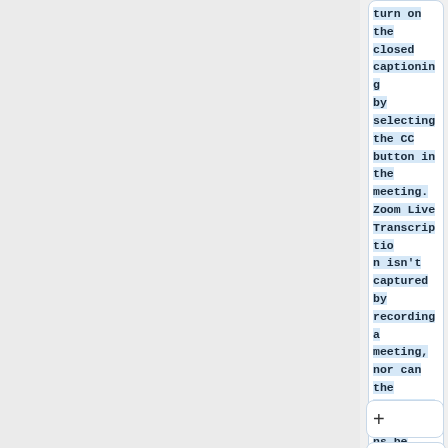turn on the closed captioning by selecting the CC button in the meeting. Zoom Live Transcription isn't captured by recording a meeting, nor can the transcriptions be saved for later.